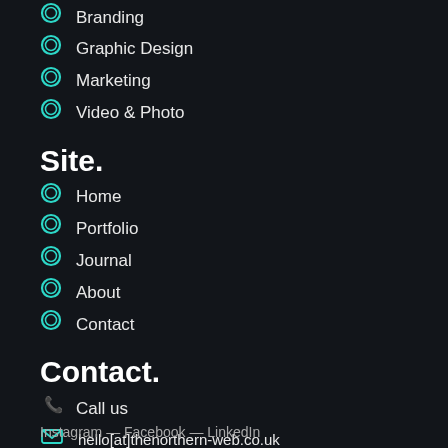Branding
Graphic Design
Marketing
Video & Photo
Site.
Home
Portfolio
Journal
About
Contact
Contact.
Call us
hello[at]thenorthern-web.co.uk
Ancoats, Manchester
Instagram — Facebook — LinkedIn